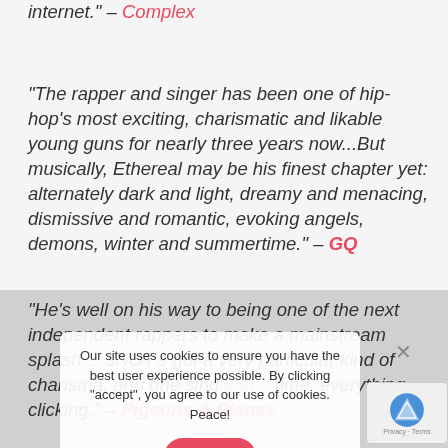internet." – Complex
“The rapper and singer has been one of hip-hop’s most exciting, charismatic and likable young guns for nearly three years now…But musically, Ethereal may be his finest chapter yet: alternately dark and light, dreamy and menacing, dismissive and romantic, evoking angels, demons, winter and summertime.” – GQ
“He’s well on his way to being one of the next independent rappers to make a mainstream splash… $NOT’s got a very particular kind of charisma, and one single at a time, everything clicking.” – Pigeons & Planes
Our site uses cookies to ensure you have the best user experience possible. By clicking “accept”, you agree to our use of cookies. Peace!